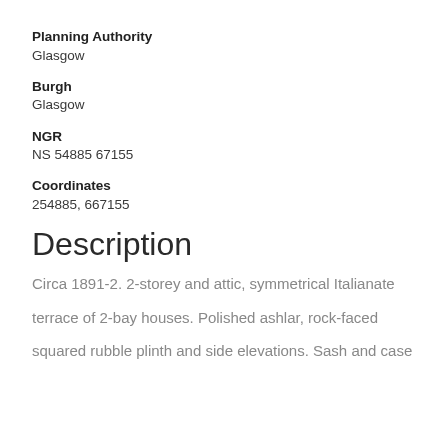Planning Authority
Glasgow
Burgh
Glasgow
NGR
NS 54885 67155
Coordinates
254885, 667155
Description
Circa 1891-2. 2-storey and attic, symmetrical Italianate
terrace of 2-bay houses. Polished ashlar, rock-faced
squared rubble plinth and side elevations. Sash and case